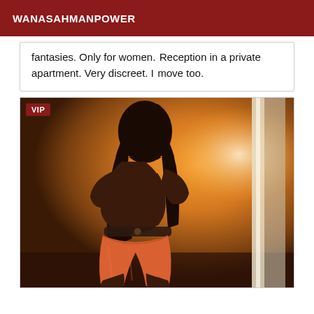WANASAHMANPOWER
fantasies. Only for women. Reception in a private apartment. Very discreet. I move too.
[Figure (photo): Person wearing orange shorts and dark top, posed sideways, with a warm orange/brown blurred background. A VIP badge appears in the top-left corner.]